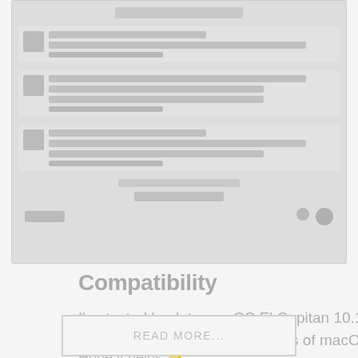[Figure (screenshot): A screenshot of a macOS or app interface showing a list/feed of messages or notifications with user avatars, text lines, and timestamps, displayed in a light grey/muted style.]
Compatibility
I've tested back to macOS El Capitan 10.11 and it worked; it will possibly work for earlier versions of macOS, too.
Hope it helps 🌟
READ MORE...